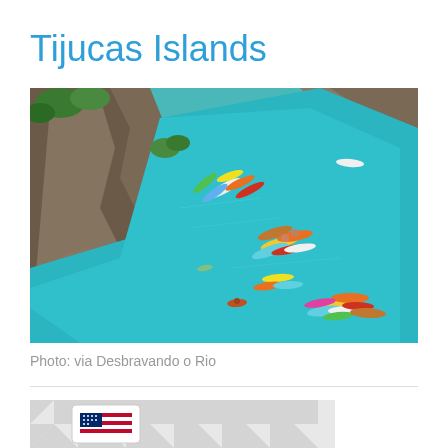Tijucas Islands
[Figure (photo): Aerial drone photo of Tijucas Islands showing turquoise water between rocky cliffs with people on SUP boards and kayaks]
Photo: via Desbravando o Rio
[Figure (other): Partial flag card with US flag emoji on a light grey geometric patterned background]